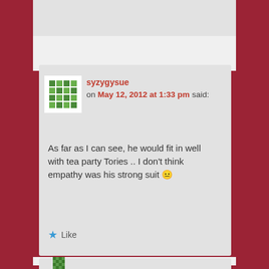syzygysue on May 12, 2012 at 1:33 pm said:
As far as I can see, he would fit in well with tea party Tories .. I don't think empathy was his strong suit 😐
Like